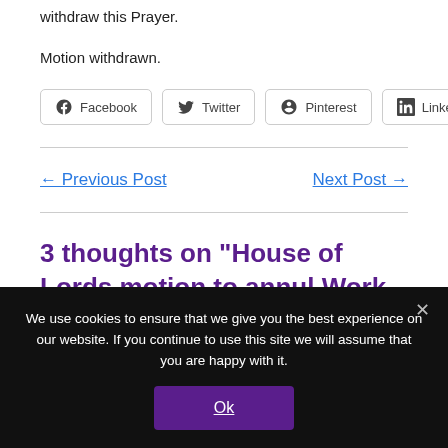withdraw this Prayer.
Motion withdrawn.
Facebook  Twitter  Pinterest  LinkedIn
← Previous Post
Next Post →
3 thoughts on “House of Lords motion to annul Work Capability Assessment
We use cookies to ensure that we give you the best experience on our website. If you continue to use this site we will assume that you are happy with it.
Ok